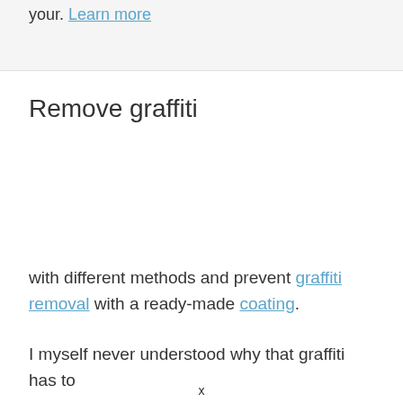your. Learn more
Remove graffiti
with different methods and prevent graffiti removal with a ready-made coating.
I myself never understood why that graffiti has to
x